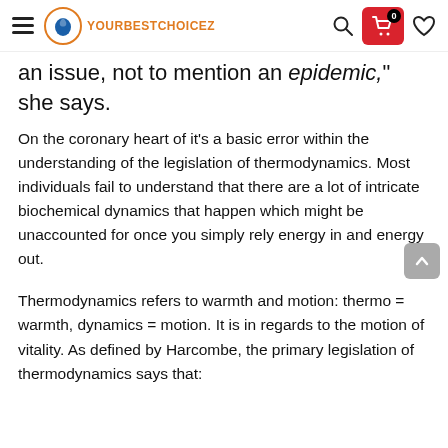YOURBESTCHOICEZ
an issue, not to mention an epidemic,” she says.
On the coronary heart of it’s a basic error within the understanding of the legislation of thermodynamics. Most individuals fail to understand that there are a lot of intricate biochemical dynamics that happen which might be unaccounted for once you simply rely energy in and energy out.
Thermodynamics refers to warmth and motion: thermo = warmth, dynamics = motion. It is in regards to the motion of vitality. As defined by Harcombe, the primary legislation of thermodynamics says that: